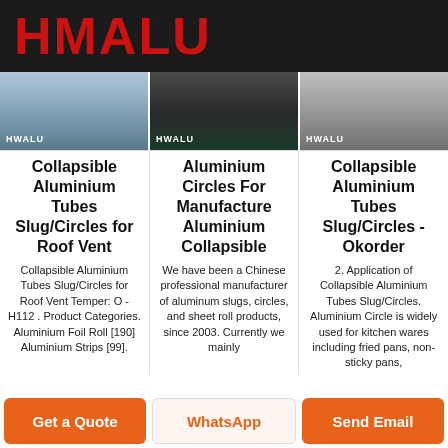HMALU
[Figure (photo): Three product images side by side showing aluminium sheets/circles/material with HWALU branding labels]
Collapsible Aluminium Tubes Slug/Circles for Roof Vent
Aluminium Circles For Manufacture Aluminium Collapsible
Collapsible Aluminium Tubes Slug/Circles - Okorder
Collapsible Aluminium Tubes Slug/Circles for Roof Vent Temper: O - H112 . Product Categories. Aluminium Foil Roll [190] Aluminium Strips [99].
We have been a Chinese professional manufacturer of aluminum slugs, circles, and sheet roll products, since 2003. Currently we mainly
2. Application of Collapsible Aluminium Tubes Slug/Circles. Aluminium Circle is widely used for kitchen wares including fried pans, non-sticky pans,